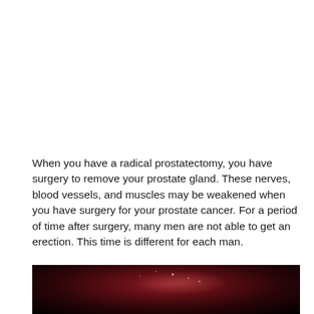When you have a radical prostatectomy, you have surgery to remove your prostate gland. These nerves, blood vessels, and muscles may be weakened when you have surgery for your prostate cancer. For a period of time after surgery, many men are not able to get an erection. This time is different for each man.
[Figure (photo): Close-up medical/surgical photograph with dark background showing reddish tissue illuminated, with small bright specular highlights visible.]